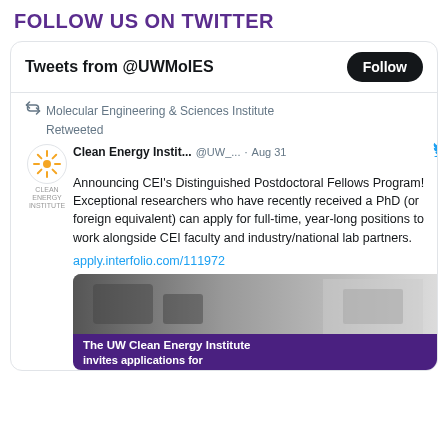FOLLOW US ON TWITTER
Tweets from @UWMolES
Follow
Molecular Engineering & Sciences Institute
Retweeted
Clean Energy Instit... @UW_... · Aug 31
Announcing CEI's Distinguished Postdoctoral Fellows Program! Exceptional researchers who have recently received a PhD (or foreign equivalent) can apply for full-time, year-long positions to work alongside CEI faculty and industry/national lab partners.
apply.interfolio.com/111972
[Figure (screenshot): Partial photo of a lab instrument with a purple banner overlay reading 'The UW Clean Energy Institute invites applications for']